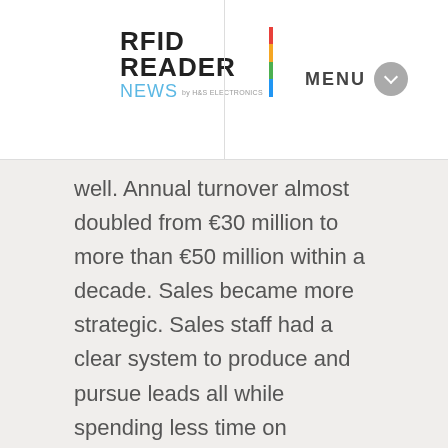RFID READER NEWS by H&S Electronics — MENU
well. Annual turnover almost doubled from €30 million to more than €50 million within a decade. Sales became more strategic. Sales staff had a clear system to produce and pursue leads all while spending less time on administrative tasks, and more time selling products. Managers were no longer bogged down by day to day business and could focus on more higher-level tasks. Their purchasing department was able to achieve savings of almost €2 million within 1.5